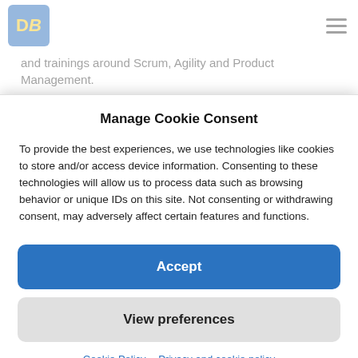[Figure (logo): Blue square logo with yellow letters D and B]
and trainings around Scrum, Agility and Product Management.
Having hands on experience as both a Product Owner, Scrum
Manage Cookie Consent
To provide the best experiences, we use technologies like cookies to store and/or access device information. Consenting to these technologies will allow us to process data such as browsing behavior or unique IDs on this site. Not consenting or withdrawing consent, may adversely affect certain features and functions.
Accept
View preferences
Cookie Policy  Privacy and cookie policy